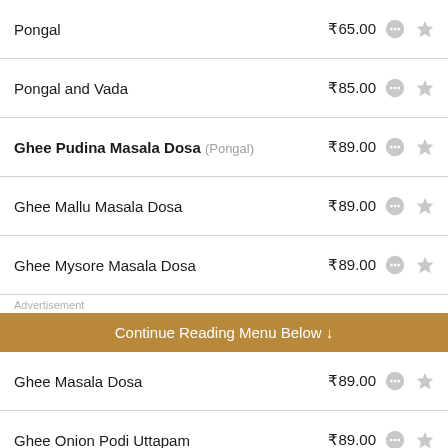Pongal ₹65.00
Pongal and Vada ₹85.00
Ghee Pudina Masala Dosa (Pongal) ₹89.00
Ghee Mallu Masala Dosa ₹89.00
Ghee Mysore Masala Dosa ₹89.00
Advertisement
Continue Reading Menu Below ↓
Ghee Masala Dosa ₹89.00
Ghee Onion Podi Uttapam ₹89.00
Ghee Onion Dosa ₹89.00
Ghee Podi Dosa ₹89.00
Ghee Dosa ₹79.00